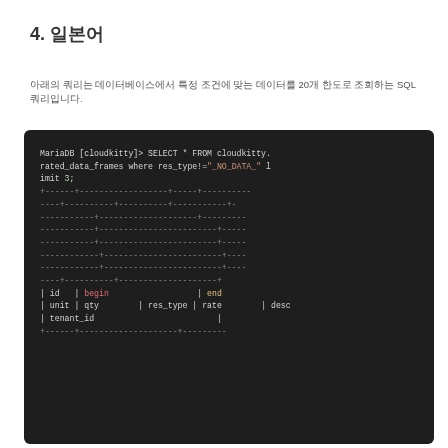4. 일본어
아래의 쿼리는 데이터베이스에서 특정 조건에 맞는 데이터를 20개 한도로 조회하는 SQL 쿼리입니다.
[Figure (screenshot): Dark-themed terminal/SQL code block showing a MariaDB query: SELECT * FROM cloudkitty.rated_data_frames where res_type!='_NO_DATA_' limit 3; followed by a table result with dashed borders and columns: id, begin, end, unit, qty, res_type, rate, desc, tenant_id]